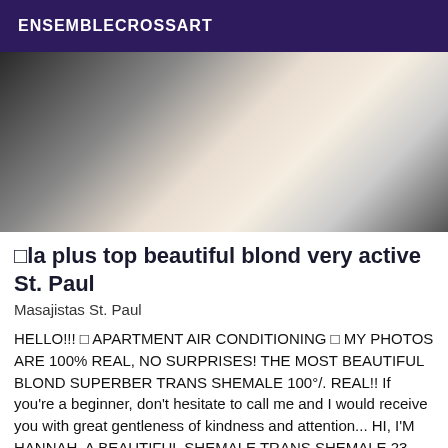ENSEMBLECROSSART
[Figure (photo): A person wearing a white ruffled top, lifting it to reveal the midsection, with white lace stockings visible at the bottom and a grey garment to the right side.]
□la plus top beautiful blond very active St. Paul
Masajistas St. Paul
HELLO!!! □ APARTMENT AIR CONDITIONING □ MY PHOTOS ARE 100% REAL, NO SURPRISES! THE MOST BEAUTIFUL BLOND SUPERBER TRANS SHEMALE 100°/. REAL!! If you're a beginner, don't hesitate to call me and I would receive you with great gentleness of kindness and attention... HI, I'M HANNAH, A BEAUTIFUL SHEMALE TRANS SHEMALE 23